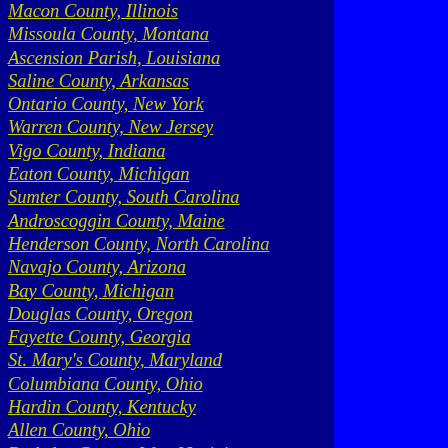Macon County, Illinois
Missoula County, Montana
Ascension Parish, Louisiana
Saline County, Arkansas
Ontario County, New York
Warren County, New Jersey
Vigo County, Indiana
Eaton County, Michigan
Sumter County, South Carolina
Androscoggin County, Maine
Henderson County, North Carolina
Navajo County, Arizona
Bay County, Michigan
Douglas County, Oregon
Fayette County, Georgia
St. Mary's County, Maryland
Columbiana County, Ohio
Hardin County, Kentucky
Allen County, Ohio
Berkeley County, West Virginia
Bonneville County, Idaho
Kaufman County, Texas